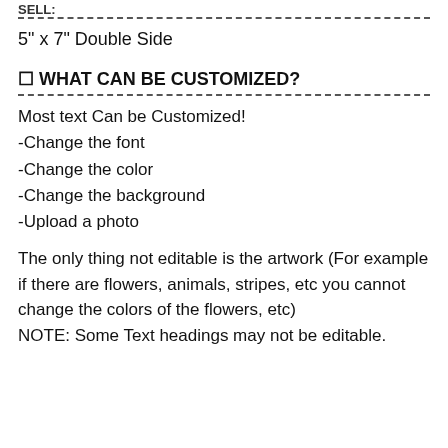SELL:
5" x 7" Double Side
✦ WHAT CAN BE CUSTOMIZED?
Most text Can be Customized!
-Change the font
-Change the color
-Change the background
-Upload a photo
The only thing not editable is the artwork (For example if there are flowers, animals, stripes, etc you cannot change the colors of the flowers, etc)
NOTE: Some Text headings may not be editable.